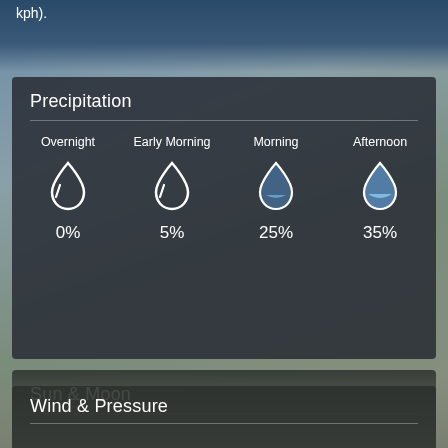kph).
Precipitation
| Overnight | Early Morning | Morning | Afternoon |
| --- | --- | --- | --- |
| 0% | 5% | 25% | 35% |
Sun & Moon
Waning Crescent
6:17 AM
7:00 PM
Wind & Pressure